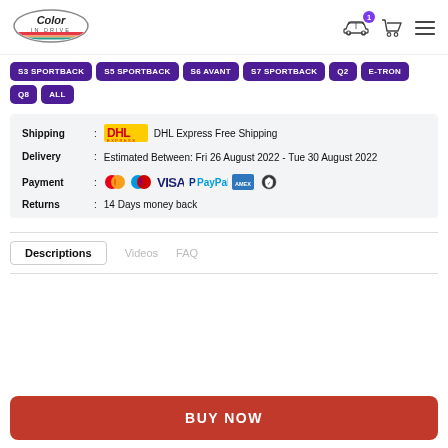[Figure (logo): Color In Drive oval logo with rainbow stripe and car silhouette]
Navigation icons: car with badge '1', shopping cart, hamburger menu
S3 SPORTBACK
S5 SPORTBACK
S6 AVANT
S7 SPORTBACK
Q2
E-TRON
Q8
ALL
| Shipping | : | DHL Express Free Shipping |
| Delivery | : | Estimated Between: Fri 26 August 2022 - Tue 30 August 2022 |
| Payment | : | Mastercard, Maestro, VISA, PayPal, American Express, Secure Payment |
| Returns | : | 14 Days money back |
Descriptions | Videos | FAQ
BUY NOW